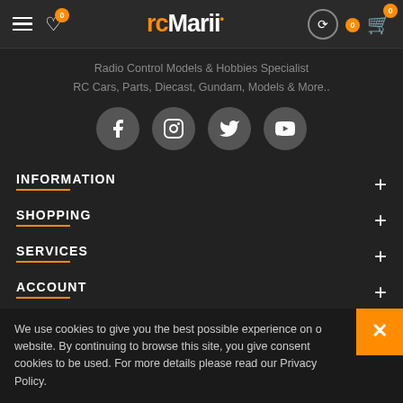rcMarii — Radio Control Models & Hobbies Specialist — RC Cars, Parts, Diecast, Gundam, Models & More..
Radio Control Models & Hobbies Specialist
RC Cars, Parts, Diecast, Gundam, Models & More..
[Figure (infographic): Social media icons: Facebook, Instagram, Twitter, YouTube — round grey circles]
INFORMATION
SHOPPING
SERVICES
ACCOUNT
NEWSLETTER
Stay up to date on the latest updates by signing up to our newsletter
We use cookies to give you the best possible experience on our website. By continuing to browse this site, you give consent for cookies to be used. For more details please read our Privacy Policy.